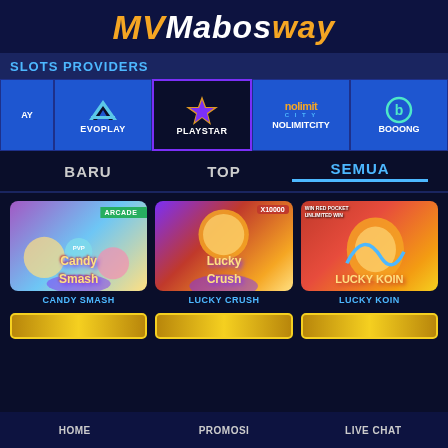MV Mabosway
SLOTS PROVIDERS
[Figure (screenshot): Horizontal scrollable row of slot provider logos: AY (partial), EVOPLAY, PLAYSTAR (selected/center), NOLIMITCITY, BOOONG (partial)]
BARU | TOP | SEMUA (active tab)
[Figure (screenshot): Grid of slot game thumbnails: Candy Smash (ARCADE badge, PVP), Lucky Crush (X10000), Lucky Koin (WIN RED POCKET UNLIMITED WIN)]
CANDY SMASH
LUCKY CRUSH
LUCKY KOIN
HOME | PROMOSI | LIVE CHAT